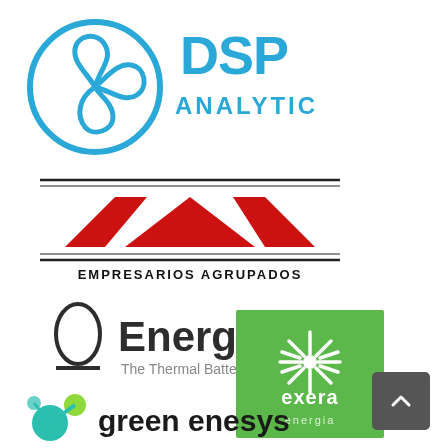[Figure (logo): DSP Analytic logo: blue triskelion spiral symbol on the left, bold blue text 'DSP' above 'ANALYTIC' on the right]
[Figure (logo): Empresarios Agrupados logo: red geometric trapezoid/triangle shapes forming an 'EA' emblem with horizontal lines top and bottom, text 'EMPRESARIOS AGRUPADOS' below in black spaced capitals]
[Figure (logo): EnergyNest logo: dark oval/egg outline icon with underline on the left, bold dark text 'EnergyNest' with subtitle 'The Thermal Battery company™' in gray]
[Figure (logo): Exera energia logo: green square with a white dandelion/burst flower icon and text 'exera' in white and 'energia' in gray below]
[Figure (logo): green enesys logo: teal/green molecular bubble icon with a bright yellow-green accent circle, text 'green enesys' in dark bold lowercase]